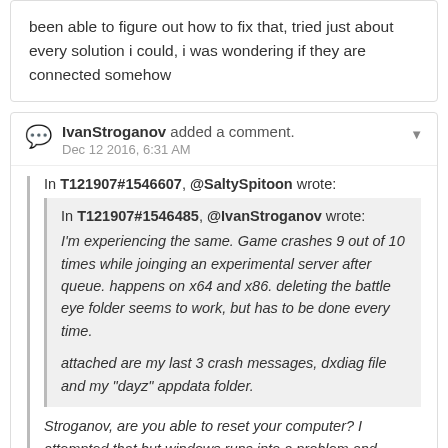been able to figure out how to fix that, tried just about every solution i could, i was wondering if they are connected somehow
IvanStroganov added a comment.
Dec 12 2016, 6:31 AM
In T121907#1546607, @SaltySpitoon wrote:
In T121907#1546485, @IvanStroganov wrote:
I'm experiencing the same. Game crashes 9 out of 10 times while joinging an experimental server after queue. happens on x64 and x86. deleting the battle eye folder seems to work, but has to be done every time.

attached are my last 3 crash messages, dxdiag file and my "dayz" appdata folder.
Stroganov, are you able to reset your computer? I attempted that but windows runs into a problem and makes no changes, i havent been able to figure out how to fix that, tried just about every solution i could, i wondering if they are connected somehow